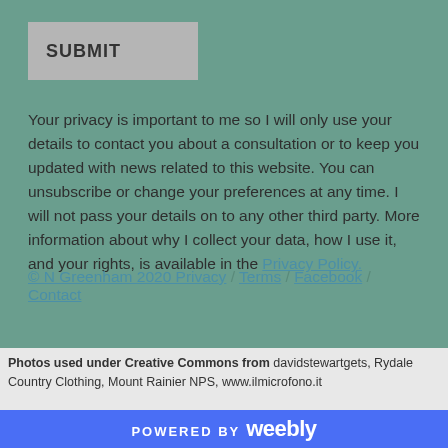SUBMIT
Your privacy is important to me so I will only use your details to contact you about a consultation or to keep you updated with news related to this website. You can unsubscribe or change your preferences at any time. I will not pass your details on to any other third party. More information about why I collect your data, how I use it, and your rights, is available in the Privacy Policy.
© N Greenham 2020 Privacy / Terms / Facebook / Contact
Photos used under Creative Commons from davidstewartgets, Rydale Country Clothing, Mount Rainier NPS, www.ilmicrofono.it
POWERED BY weebly